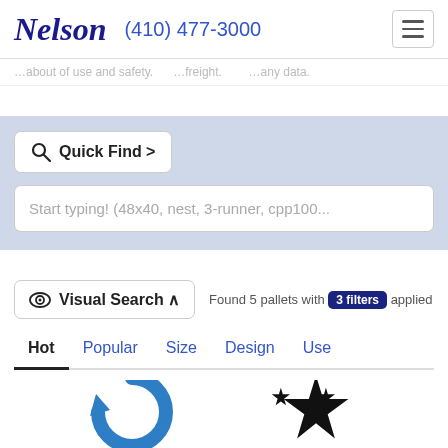Nelson (410) 477-3000
…about of use and safety. …freight. …any data.
Quick Find >
Start typing! (48x40, nest, 3-runner, cpp100...
Visual Search ∧  Found 5 pallets with 3 filters applied
Hot  Popular  Size  Design  Use
[Figure (logo): Blue partial circular arrow icon (bottom cropped)]
[Figure (logo): Black star/stars badge icon (bottom cropped)]